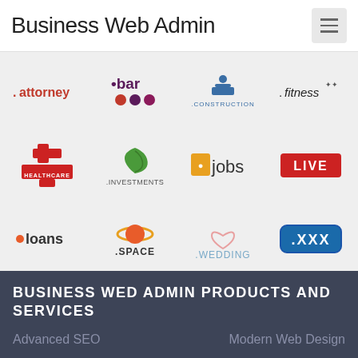Business Web Admin
[Figure (logo): Grid of domain extension logos: .attorney, .bar, .construction, .fitness, .healthcare, .investments, .jobs, .live, .loans, .space, .wedding, .xxx]
BUSINESS WED ADMIN PRODUCTS AND SERVICES
Advanced SEO
Modern Web Design